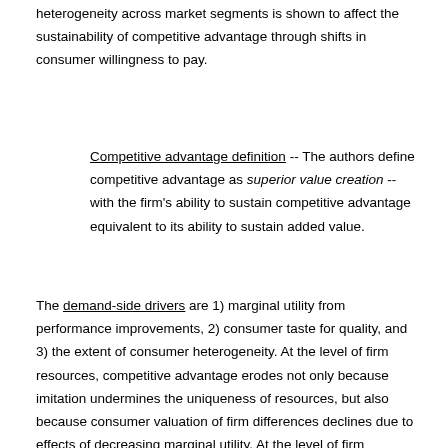heterogeneity across market segments is shown to affect the sustainability of competitive advantage through shifts in consumer willingness to pay.
Competitive advantage definition -- The authors define competitive advantage as superior value creation -- with the firm's ability to sustain competitive advantage equivalent to its ability to sustain added value.
The demand-side drivers are 1) marginal utility from performance improvements, 2) consumer taste for quality, and 3) the extent of consumer heterogeneity. At the level of firm resources, competitive advantage erodes not only because imitation undermines the uniqueness of resources, but also because consumer valuation of firm differences declines due to effects of decreasing marginal utility. At the level of firm positions, strategic heterogeneity is shown to be rooted not only in differences between firms' internal resources but also in the extent of consumer heterogeneity in the firms' demand environment.